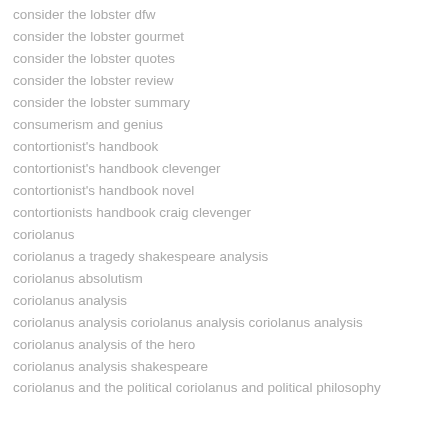consider the lobster dfw
consider the lobster gourmet
consider the lobster quotes
consider the lobster review
consider the lobster summary
consumerism and genius
contortionist's handbook
contortionist's handbook clevenger
contortionist's handbook novel
contortionists handbook craig clevenger
coriolanus
coriolanus a tragedy shakespeare analysis
coriolanus absolutism
coriolanus analysis
coriolanus analysis coriolanus analysis coriolanus analysis
coriolanus analysis of the hero
coriolanus analysis shakespeare
coriolanus and the political coriolanus and political philosophy